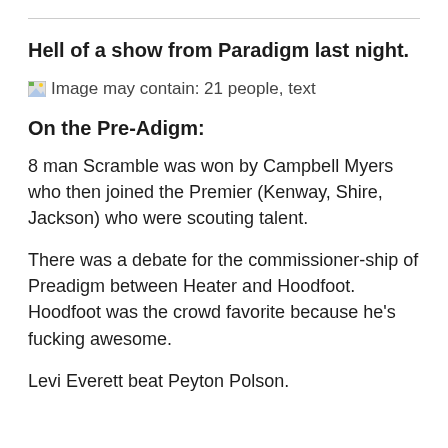Hell of a show from Paradigm last night.
[Figure (photo): Image may contain: 21 people, text]
On the Pre-Adigm:
8 man Scramble was won by Campbell Myers who then joined the Premier (Kenway, Shire, Jackson) who were scouting talent.
There was a debate for the commissioner-ship of Preadigm between Heater and Hoodfoot. Hoodfoot was the crowd favorite because he's fucking awesome.
Levi Everett beat Peyton Polson.